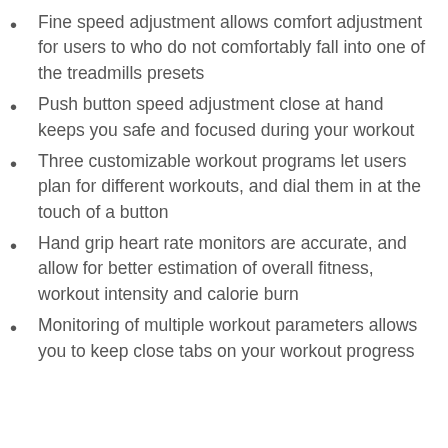Fine speed adjustment allows comfort adjustment for users to who do not comfortably fall into one of the treadmills presets
Push button speed adjustment close at hand keeps you safe and focused during your workout
Three customizable workout programs let users plan for different workouts, and dial them in at the touch of a button
Hand grip heart rate monitors are accurate, and allow for better estimation of overall fitness, workout intensity and calorie burn
Monitoring of multiple workout parameters allows you to keep close tabs on your workout progress